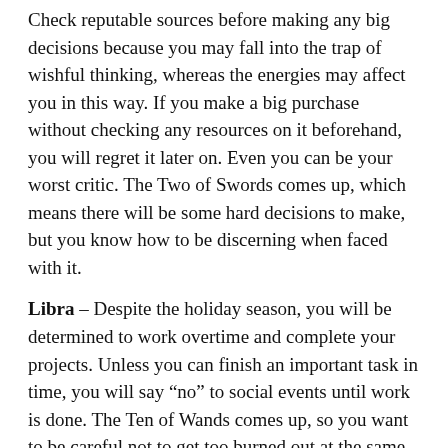Check reputable sources before making any big decisions because you may fall into the trap of wishful thinking, whereas the energies may affect you in this way. If you make a big purchase without checking any resources on it beforehand, you will regret it later on. Even you can be your worst critic. The Two of Swords comes up, which means there will be some hard decisions to make, but you know how to be discerning when faced with it.
Libra – Despite the holiday season, you will be determined to work overtime and complete your projects. Unless you can finish an important task in time, you will say “no” to social events until work is done. The Ten of Wands comes up, so you want to be careful not to get too burned out at the same time.
Scorpio – You will be thinking about how you can boost your career or business over the next year, and you will be thinking about that this week. You